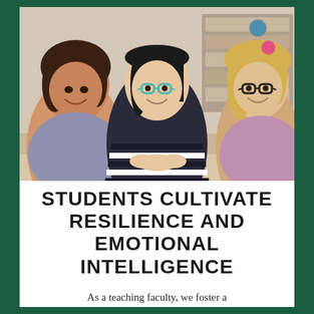[Figure (photo): Three smiling school-age girls lying on a table in a classroom setting. The girl on the left has dark hair and is wearing a floral top, the girl in the middle wears glasses with teal frames and a striped navy shirt, and the girl on the right has blonde hair and wears glasses with black frames.]
STUDENTS CULTIVATE RESILIENCE AND EMOTIONAL INTELLIGENCE
As a teaching faculty, we foster a